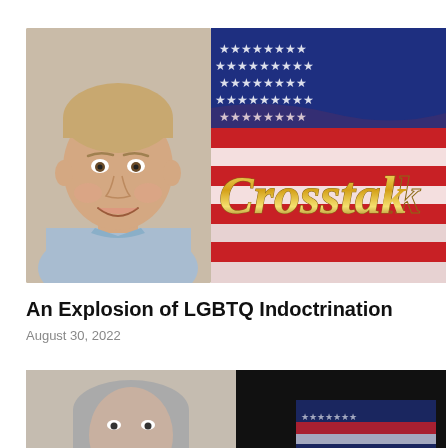[Figure (photo): Two side-by-side images: left shows a smiling middle-aged man with light hair wearing a light blue shirt against a beige background; right shows a Crosstalk logo with gold cursive text over an American flag with red, white and blue stripes and stars]
An Explosion of LGBTQ Indoctrination
August 30, 2022
[Figure (photo): Partially visible image: left portion shows a man with gray hair, right portion shows a dark background with partial view of another image]